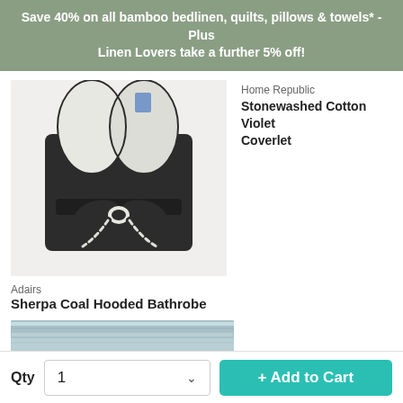Save 40% on all bamboo bedlinen, quilts, pillows & towels* - Plus Linen Lovers take a further 5% off!
[Figure (photo): Sherpa Coal Hooded Bathrobe folded and tied with a bow, shown in dark charcoal and white sherpa fabric]
Adairs
Sherpa Coal Hooded Bathrobe
Home Republic
Stonewashed Cotton Violet Coverlet
[Figure (photo): Stonewashed Cotton fabric in blue/violet color, partially visible at bottom of page]
Qty  1  + Add to Cart